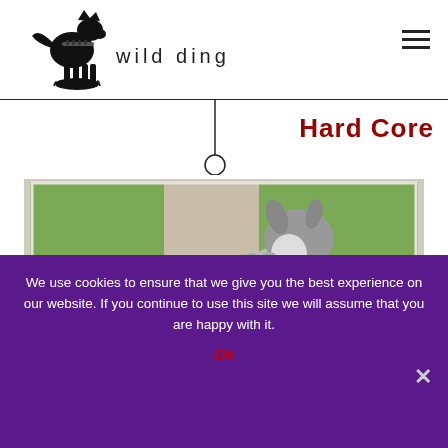[Figure (logo): Wild Dingo logo: black silhouette of a dingo dog sitting, with text 'wild dingo' in lowercase letters, and a leash/circle graphic below]
Hard Core
[Figure (photo): Outdoor photo of a person in shorts and sandals walking on grass with a large black and white dog jumping up against them, framed with a decorative border]
We use cookies to ensure that we give you the best experience on our website. If you continue to use this site we will assume that you are happy with it.
Ok